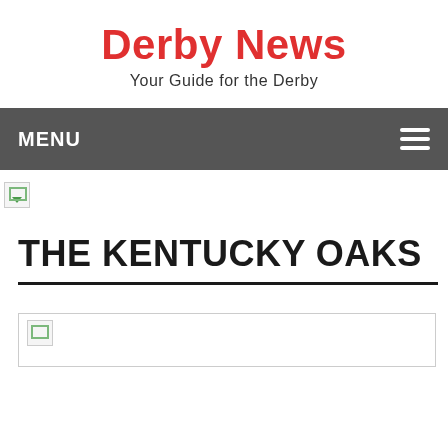Derby News
Your Guide for the Derby
MENU
[Figure (other): Broken image placeholder icon (small, top-left area)]
THE KENTUCKY OAKS
[Figure (other): Broken image placeholder icon (small, bottom article area)]